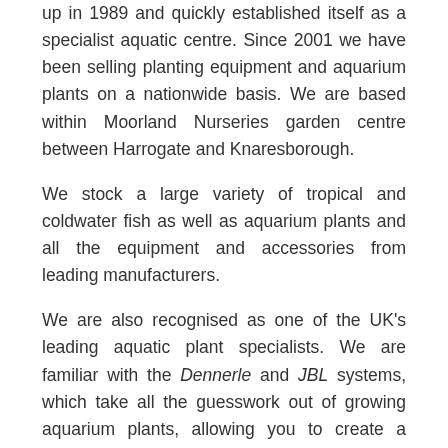up in 1989 and quickly established itself as a specialist aquatic centre. Since 2001 we have been selling planting equipment and aquarium plants on a nationwide basis. We are based within Moorland Nurseries garden centre between Harrogate and Knaresborough.
We stock a large variety of tropical and coldwater fish as well as aquarium plants and all the equipment and accessories from leading manufacturers.
We are also recognised as one of the UK's leading aquatic plant specialists. We are familiar with the Dennerle and JBL systems, which take all the guesswork out of growing aquarium plants, allowing you to create a beautiful, thriving underwater garden.
During the Spring and Summer months our watergarden centre bursts into life with a tremendous selection of pond fish, pond plants, water lilies and young koi carp. We have technical ponds and water features on display...